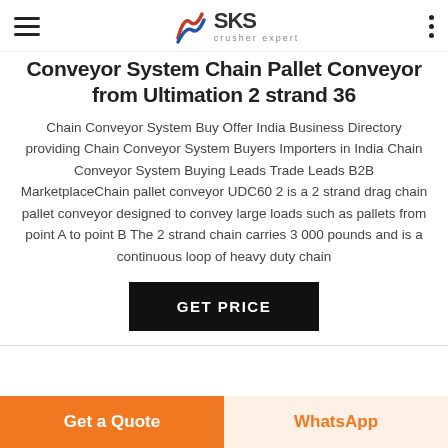SKS crusher expert
Conveyor System Chain Pallet Conveyor from Ultimation 2 strand 36
Chain Conveyor System Buy Offer India Business Directory providing Chain Conveyor System Buyers Importers in India Chain Conveyor System Buying Leads Trade Leads B2B MarketplaceChain pallet conveyor UDC60 2 is a 2 strand drag chain pallet conveyor designed to convey large loads such as pallets from point A to point B The 2 strand chain carries 3 000 pounds and is a continuous loop of heavy duty chain
GET PRICE
Get a Quote
WhatsApp